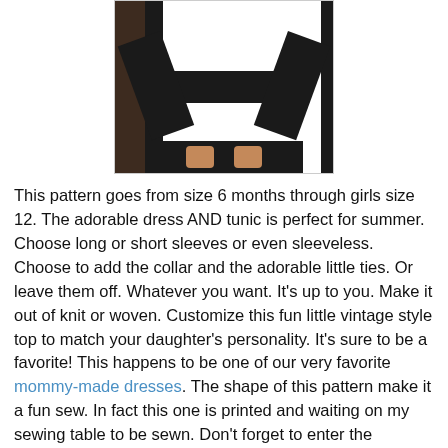[Figure (photo): Photo of a person wearing a black and white horizontal striped long-sleeve top, hands on hips, with a dark brown background]
This pattern goes from size 6 months through girls size 12. The adorable dress AND tunic is perfect for summer. Choose long or short sleeves or even sleeveless. Choose to add the collar and the adorable little ties. Or leave them off. Whatever you want. It's up to you. Make it out of knit or woven. Customize this fun little vintage style top to match your daughter's personality. It's sure to be a favorite! This happens to be one of our very favorite mommy-made dresses. The shape of this pattern make it a fun sew. In fact this one is printed and waiting on my sewing table to be sewn. Don't forget to enter the giveaway at the end for a free copy of the Norah